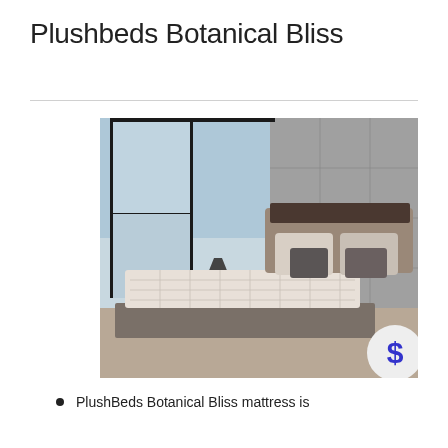Plushbeds Botanical Bliss
[Figure (photo): A modern bedroom with a PlushBeds Botanical Bliss mattress on a low-profile platform bed frame, with large floor-to-ceiling windows looking out over a body of water, gray upholstered headboard, decorative pillows, and a floor lamp. A dollar sign badge overlay is in the bottom-right corner.]
PlushBeds Botanical Bliss mattress is